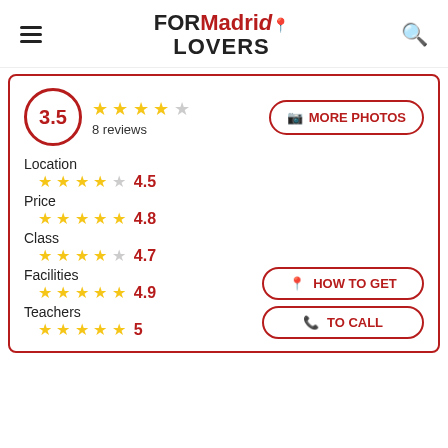FORMadrid LOVERS
[Figure (infographic): Rating card showing overall score 3.5 with 8 reviews, and category ratings: Location 4.5, Price 4.8, Class 4.7, Facilities 4.9, Teachers 5. Buttons: MORE PHOTOS, HOW TO GET, TO CALL.]